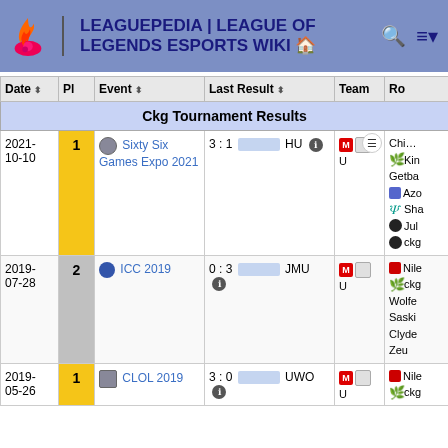LEAGUEPEDIA | LEAGUE OF LEGENDS ESPORTS WIKI
| Date | Pl | Event | Last Result | Team | Ro |
| --- | --- | --- | --- | --- | --- |
| 2021-10-10 | 1 | Sixty Six Games Expo 2021 | 3 : 1 [blurred] HU | M [blurred] U | Ch… / Kin / Getba / Azo / Sha / Jul / ckg |
| 2019-07-28 | 2 | ICC 2019 | 0 : 3 [blurred] JMU | M [blurred] U | Nile / ckg / Wolfe / Saski / Clyde / Zeu |
| 2019-05-26 | 1 | CLOL 2019 | 3 : 0 [blurred] UWO | M [blurred] U | Nile / ckg |